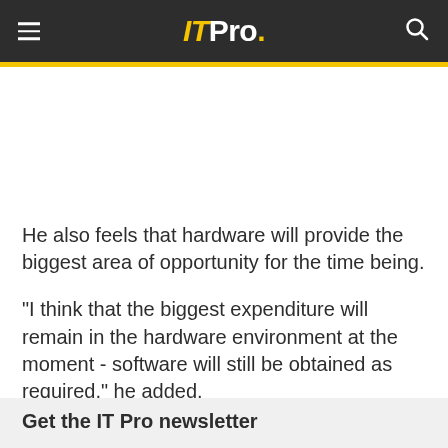ITPro.
He also feels that hardware will provide the biggest area of opportunity for the time being.
"I think that the biggest expenditure will remain in the hardware environment at the moment - software will still be obtained as required," he added.
Get the IT Pro newsletter